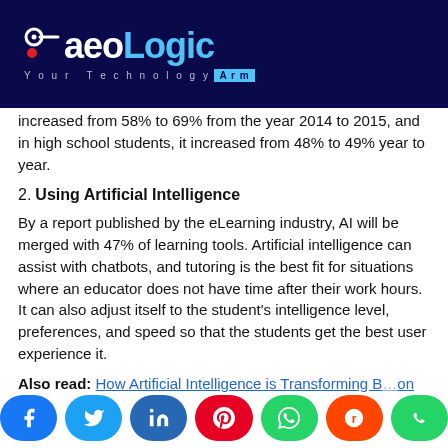[Figure (logo): AeoLogic logo — white and light blue text on dark navy background, with tagline 'Your Technology Arm']
increased from 58% to 69% from the year 2014 to 2015, and in high school students, it increased from 48% to 49% year to year.
2. Using Artificial Intelligence
By a report published by the eLearning industry, AI will be merged with 47% of learning tools. Artificial intelligence can assist with chatbots, and tutoring is the best fit for situations where an educator does not have time after their work hours. It can also adjust itself to the student's intelligence level, preferences, and speed so that the students get the best user experience it.
Also read: How Artificial Intelligence is Transforming Business
[Figure (infographic): Social media share buttons: Facebook, Twitter, LinkedIn, Pinterest, WhatsApp, Reddit, WhatsApp]